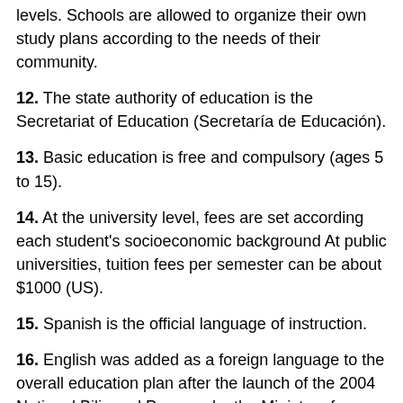levels. Schools are allowed to organize their own study plans according to the needs of their community.
12. The state authority of education is the Secretariat of Education (Secretaría de Educación).
13. Basic education is free and compulsory (ages 5 to 15).
14. At the university level, fees are set according each student's socioeconomic background At public universities, tuition fees per semester can be about $1000 (US).
15. Spanish is the official language of instruction.
16. English was added as a foreign language to the overall education plan after the launch of the 2004 National Bilingual Program by the Ministry of Education.
17. English is not only now part of the state curriculum but